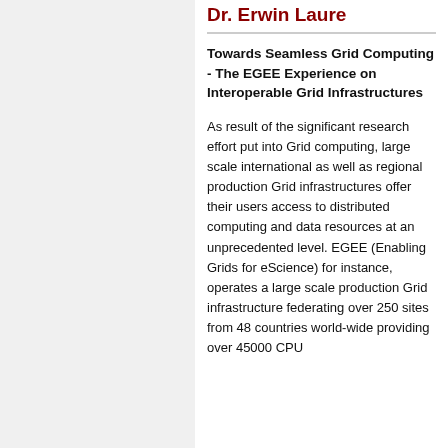Dr. Erwin Laure
Towards Seamless Grid Computing - The EGEE Experience on Interoperable Grid Infrastructures
As result of the significant research effort put into Grid computing, large scale international as well as regional production Grid infrastructures offer their users access to distributed computing and data resources at an unprecedented level. EGEE (Enabling Grids for eScience) for instance, operates a large scale production Grid infrastructure federating over 250 sites from 48 countries world-wide providing over 45000 CPU